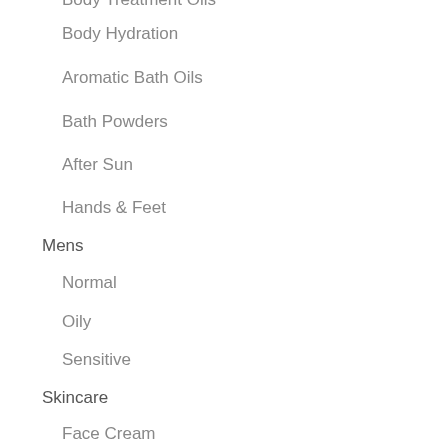Body Treatment Oils
Body Hydration
Aromatic Bath Oils
Bath Powders
After Sun
Hands & Feet
Mens
Normal
Oily
Sensitive
Skincare
Face Cream
Hand Cream
Shaving
Oxygen Renewal